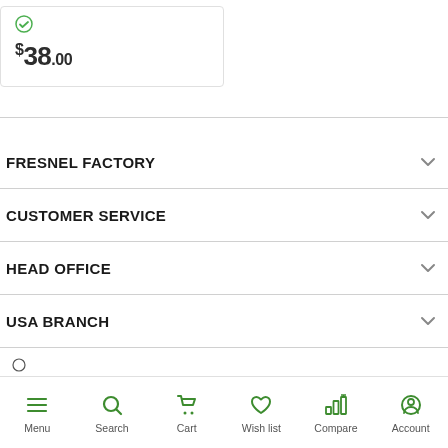$ 38.00
FRESNEL FACTORY
CUSTOMER SERVICE
HEAD OFFICE
USA BRANCH
Menu  Search  Cart  Wish list  Compare  Account